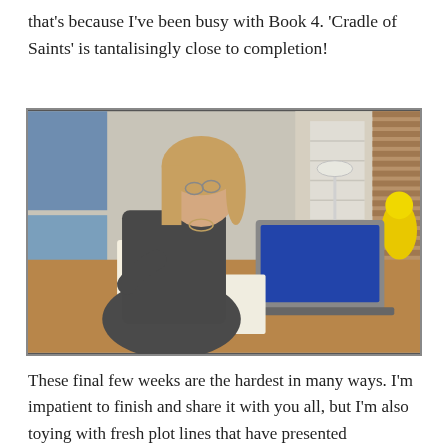that's because I've been busy with Book 4. 'Cradle of Saints' is tantalisingly close to completion!
[Figure (photo): A woman with shoulder-length blonde hair and glasses sits at a wooden desk, reading or reviewing an open book. A laptop is open to her right. Behind her are maps on a wall, window shutters, and a desk lamp. On the right side of the scene there is a yellow decorative figure.]
These final few weeks are the hardest in many ways. I'm impatient to finish and share it with you all, but I'm also toying with fresh plot lines that have presented themselves through the process of writing, and wondering where and how to weave them in, if at all.